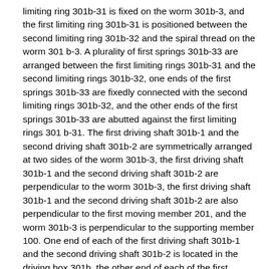limiting ring 301b-31 is fixed on the worm 301b-3, and the first limiting ring 301b-31 is positioned between the second limiting ring 301b-32 and the spiral thread on the worm 301b-3. A plurality of first springs 301b-33 are arranged between the first limiting rings 301b-31 and the second limiting rings 301b-32, one ends of the first springs 301b-33 are fixedly connected with the second limiting rings 301b-32, and the other ends of the first springs 301b-33 are abutted against the first limiting rings 301 b-31. The first driving shaft 301b-1 and the second driving shaft 301b-2 are symmetrically arranged at two sides of the worm 301b-3, the first driving shaft 301b-1 and the second driving shaft 301b-2 are perpendicular to the worm 301b-3, the first driving shaft 301b-1 and the second driving shaft 301b-2 are also perpendicular to the first moving member 201, and the worm 301b-3 is perpendicular to the supporting member 100. One end of each of the first driving shaft 301b-1 and the second driving shaft 301b-2 is located in the driving box 301b, the other end of each of the first driving shaft 301b-1 and the second driving shaft 301b-2 is extended into the box body 301a, spiral teeth matched with spiral threads on the worm 301b-3 are